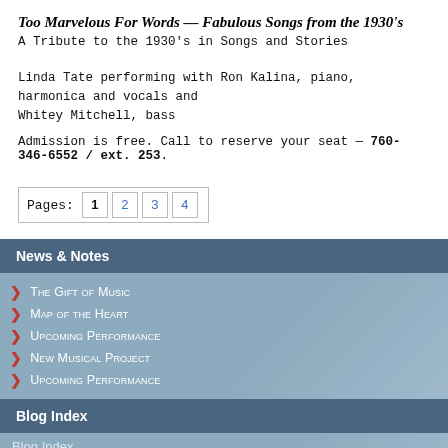Too Marvelous For Words — Fabulous Songs from the 1930's
A Tribute to the 1930's in Songs and Stories
Linda Tate performing with Ron Kalina, piano, harmonica and vocals and Whitey Mitchell, bass
Admission is free. Call to reserve your seat — 760-346-6552 / ext. 253.
Pages: 1 2 3 4
News & Notes
The Gift of Music
Map of the Heart
Upcoming Performance
New Musical Project
Upcoming Performance
Blog Index
Blog Index
Select Month
See How We're Connected
[Figure (other): Social media icons: Facebook, LinkedIn, Twitter, YouTube]